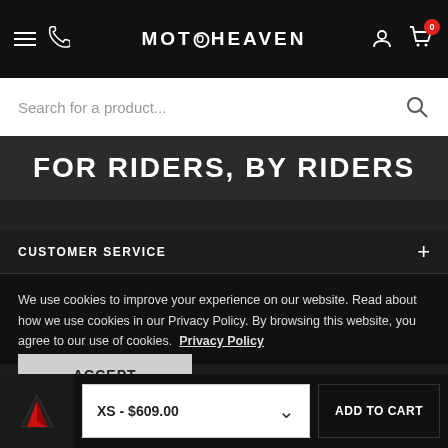MOTOHEAVEN — navigation bar with hamburger, phone, logo, user, cart (0)
Search for a product...
FOR RIDERS, BY RIDERS
CUSTOMER SERVICE
We use cookies to improve your experience on our website. Read about how we use cookies in our Privacy Policy. By browsing this website, you agree to our use of cookies.  Privacy Policy
ACCEPT
CONTACT
XS - $609.00
ADD TO CART